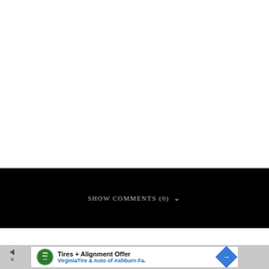SHOW COMMENTS (0)
[Figure (screenshot): Advertisement banner for Tires + Alignment Offer from VirginiaTire & Auto of Ashburn Fa.]